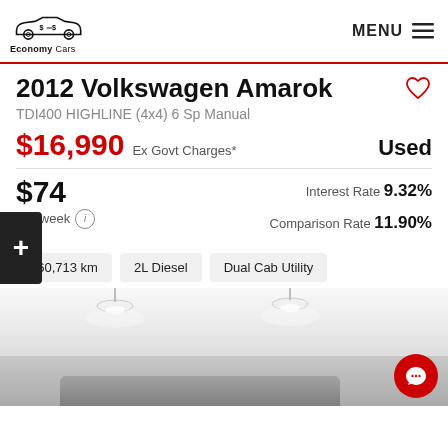Economy Cars | MENU
2012 Volkswagen Amarok
TDI400 HIGHLINE (4x4) 6 Sp Manual
$16,990 Ex Govt Charges* Used
$74 Per week (i) Interest Rate 9.32% Comparison Rate 11.90%
260,713 km
2L Diesel
Dual Cab Utility
[Figure (photo): Interior ceiling of a car dealership showroom with recessed lighting, a vehicle partially visible in the lower portion]